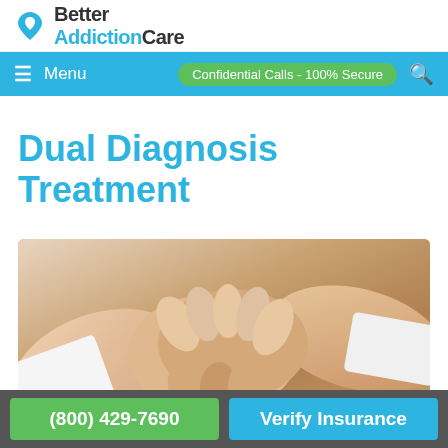Better AddictionCare
Menu  Confidential Calls - 100% Secure
Dual Diagnosis Treatment
[Figure (photo): Two people holding hands together on a wooden table, suggesting comfort and support in a healthcare/therapy context.]
(800) 429-7690   Verify Insurance